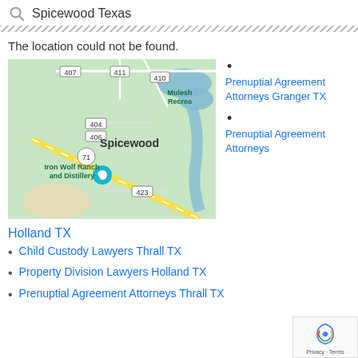Spicewood Texas
The location could not be found.
[Figure (map): Google Maps showing Spicewood, Texas area with roads 407, 411, 410, 404, 406, 71, 423, location marker for Iron Wolf Ranch and Distillery, and Muleshoe Recreation area with blue water features]
Prenuptial Agreement Attorneys Granger TX
Prenuptial Agreement Attorneys Holland TX
Holland TX
Child Custody Lawyers Thrall TX
Property Division Lawyers Holland TX
Prenuptial Agreement Attorneys Thrall TX